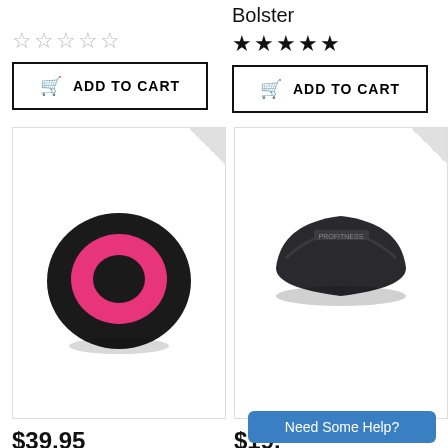Bolster
★★★★★ (5 stars, right column)
☆☆☆☆☆ (0 stars, left column)
ADD TO CART (left)
ADD TO CART (right)
[Figure (photo): Black and pink yoga wheel product photo]
[Figure (photo): Black ab mat / bolster product photo]
$39.95
$19.
Need Some Help?